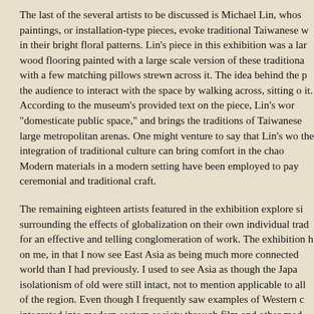The last of the several artists to be discussed is Michael Lin, whose paintings, or installation-type pieces, evoke traditional Taiwanese weaving in their bright floral patterns. Lin's piece in this exhibition was a large wood flooring painted with a large scale version of these traditional patterns with a few matching pillows strewn across it. The idea behind the piece was the audience to interact with the space by walking across, sitting on, or lying on it. According to the museum's provided text on the piece, Lin's work aims to "domesticate public space," and brings the traditions of Taiwanese weaving to large metropolitan arenas. One might venture to say that Lin's work shows that the integration of traditional culture can bring comfort in the chaos of modern life. Modern materials in a modern setting have been employed to pay tribute to ceremonial and traditional craft.
The remaining eighteen artists featured in the exhibition explore similar ideas surrounding the effects of globalization on their own individual traditions for an effective and telling conglomeration of work. The exhibition has had an effect on me, in that I now see East Asia as being much more connected to the rest of the world than I had previously. I used to see Asia as though the Japanese isolationism of old were still intact, not to mention applicable to all of the countries of the region. Even though I frequently saw examples of Western culture being integrated into modern eastern society through film and other media, I failed to realize just how much of an impact Western consumerist culture has had before this exhibition. I assumed that the traditions of those cultures had been much better preserved by the general population than our own diverse Western culture has been, and I suppose I envied them that. This exhibition, however, has caused me to see that for most East Asian people, the situation is not so d